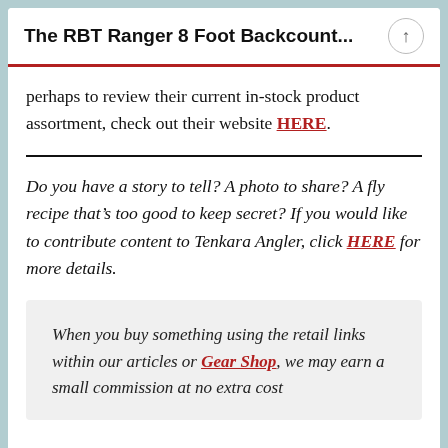The RBT Ranger 8 Foot Backcount...
perhaps to review their current in-stock product assortment, check out their website HERE.
Do you have a story to tell? A photo to share? A fly recipe that’s too good to keep secret? If you would like to contribute content to Tenkara Angler, click HERE for more details.
When you buy something using the retail links within our articles or Gear Shop, we may earn a small commission at no extra cost